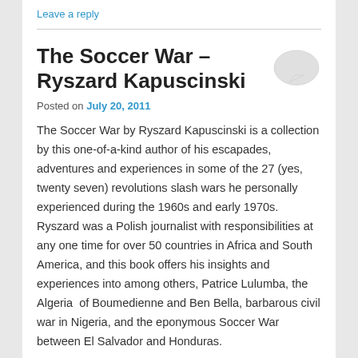Leave a reply
The Soccer War – Ryszard Kapuscinski
Posted on July 20, 2011
The Soccer War by Ryszard Kapuscinski is a collection by this one-of-a-kind author of his escapades, adventures and experiences in some of the 27 (yes, twenty seven) revolutions slash wars he personally experienced during the 1960s and early 1970s. Ryszard was a Polish journalist with responsibilities at any one time for over 50 countries in Africa and South America, and this book offers his insights and experiences into among others, Patrice Lulumba, the Algeria  of Boumedienne and Ben Bella, barbarous civil war in Nigeria, and the eponymous Soccer War between El Salvador and Honduras.
Continue reading →